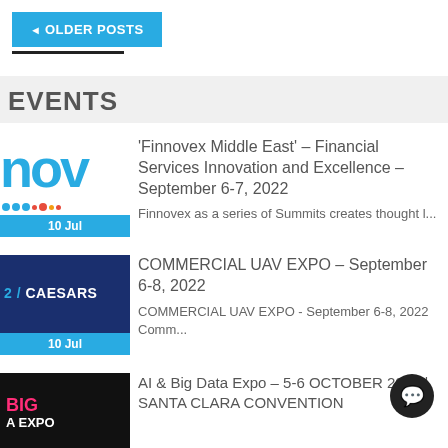◄ OLDER POSTS
EVENTS
'Finnovex Middle East' – Financial Services Innovation and Excellence – September 6-7, 2022
Finnovex as a series of Summits creates thought l...
COMMERCIAL UAV EXPO – September 6-8, 2022
COMMERCIAL UAV EXPO - September 6-8, 2022 Comm...
AI & Big Data Expo – 5-6 OCTOBER 2022 | SANTA CLARA CONVENTION